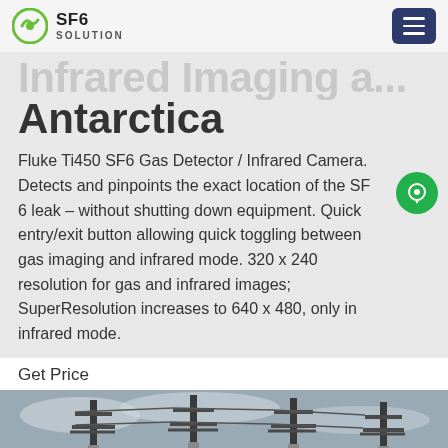SF6 SOLUTION
Antarctica
Fluke Ti450 SF6 Gas Detector / Infrared Camera. Detects and pinpoints the exact location of the SF 6 leak – without shutting down equipment. Quick entry/exit button allowing quick toggling between gas imaging and infrared mode. 320 x 240 resolution for gas and infrared images; SuperResolution increases to 640 x 480, only in infrared mode.
Get Price
[Figure (photo): Electrical substation with tall metal poles, high-voltage transmission lines, insulators and equipment against a cloudy sky. A yellow vehicle is partially visible at the bottom.]